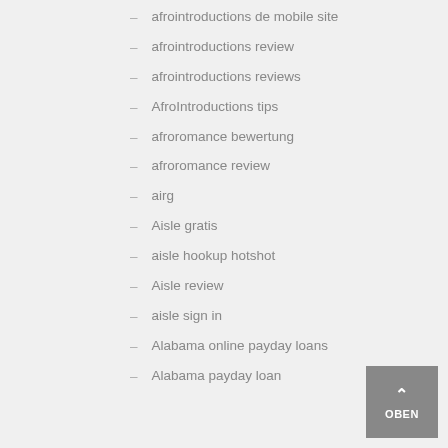– afrointroductions de mobile site
– afrointroductions review
– afrointroductions reviews
– AfroIntroductions tips
– afroromance bewertung
– afroromance review
– airg
– Aisle gratis
– aisle hookup hotshot
– Aisle review
– aisle sign in
– Alabama online payday loans
– Alabama payday loan